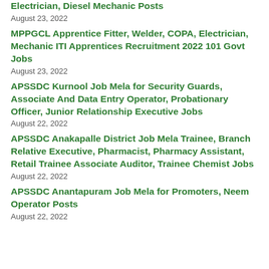Electrician, Diesel Mechanic Posts
August 23, 2022
MPPGCL Apprentice Fitter, Welder, COPA, Electrician, Mechanic ITI Apprentices Recruitment 2022 101 Govt Jobs
August 23, 2022
APSSDC Kurnool Job Mela for Security Guards, Associate And Data Entry Operator, Probationary Officer, Junior Relationship Executive Jobs
August 22, 2022
APSSDC Anakapalle District Job Mela Trainee, Branch Relative Executive, Pharmacist, Pharmacy Assistant, Retail Trainee Associate Auditor, Trainee Chemist Jobs
August 22, 2022
APSSDC Anantapuram Job Mela for Promoters, Neem Operator Posts
August 22, 2022